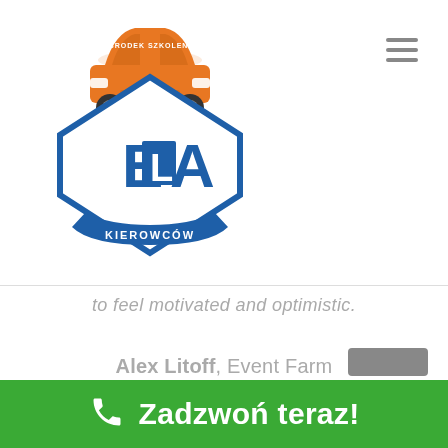[Figure (logo): ELA Ośrodek Szkolenia Kierowców logo — orange car on top, blue diamond/shield shape with 'ELA' text, blue ribbon banner with 'KIEROWCÓW' text]
to feel motivated and optimistic.
Alex Litoff, Event Farm
[Figure (other): Gray rectangular button partially visible at bottom right]
Zadzwoń teraz!